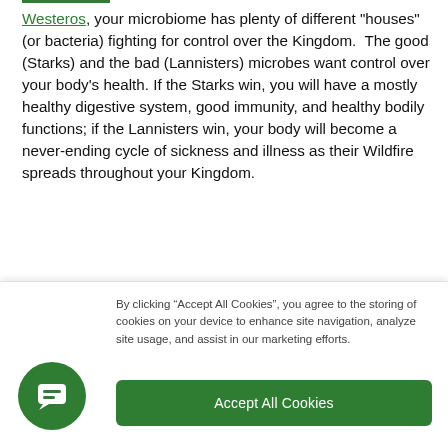Westeros, your microbiome has plenty of different "houses" (or bacteria) fighting for control over the Kingdom.  The good (Starks) and the bad (Lannisters) microbes want control over your body's health. If the Starks win, you will have a mostly healthy digestive system, good immunity, and healthy bodily functions; if the Lannisters win, your body will become a never-ending cycle of sickness and illness as their Wildfire spreads throughout your Kingdom.
[Figure (photo): Dark green microscopic bacteria/microorganism imagery on black background]
By clicking “Accept All Cookies”, you agree to the storing of cookies on your device to enhance site navigation, analyze site usage, and assist in our marketing efforts.
Accept All Cookies